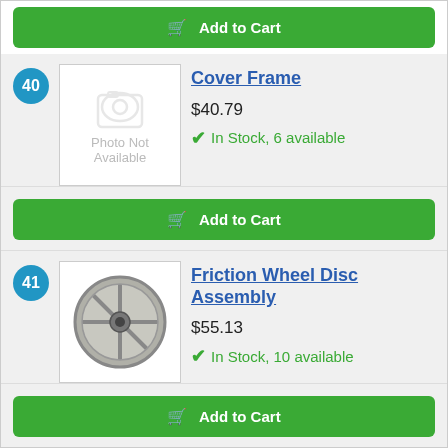[Figure (other): Add to Cart button at top of page]
40
[Figure (photo): Photo Not Available placeholder image for Cover Frame item 40]
Cover Frame
$40.79
In Stock, 6 available
Add to Cart
41
[Figure (photo): Photo of Friction Wheel Disc Assembly part]
Friction Wheel Disc Assembly
$55.13
In Stock, 10 available
Add to Cart